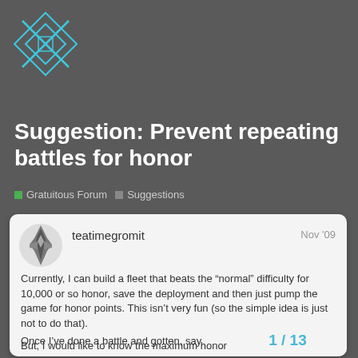[Figure (logo): Stylized X-shaped logo with cyan/teal lines on dark gray background]
Suggestion: Prevent repeating battles for honor
Gratuitous Forum  Suggestions
teatimegromit  Nov '09
Currently, I can build a fleet that beats the “normal” difficulty for 10,000 or so honor, save the deployment and then just pump the game for honor points. This isn’t very fun (so the simple idea is just not to do that).
But, I would like to know the maximum honor I’ve ever gotten for each battle, which leads to my
Once I’ve done a battle and gotten, say
1 / 13